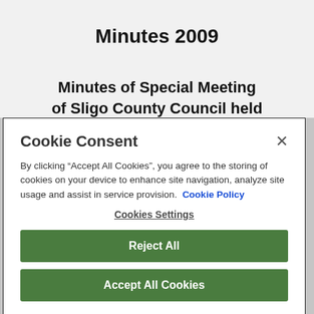Minutes 2009
Minutes of Special Meeting of Sligo County Council held
Cookie Consent
By clicking “Accept All Cookies”, you agree to the storing of cookies on your device to enhance site navigation, analyze site usage and assist in service provision.  Cookie Policy
Cookies Settings
Reject All
Accept All Cookies